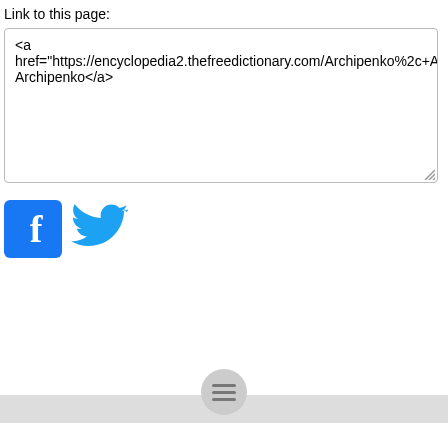Link to this page:
<a href="https://encyclopedia2.thefreedictionary.com/Archipenko%2c+Alexander">Alexander Archipenko</a>
[Figure (logo): Facebook logo icon - blue square with white letter f]
[Figure (logo): Twitter bird logo icon - blue bird silhouette]
[Figure (other): Footer navigation bar with hamburger menu icon in a circle]